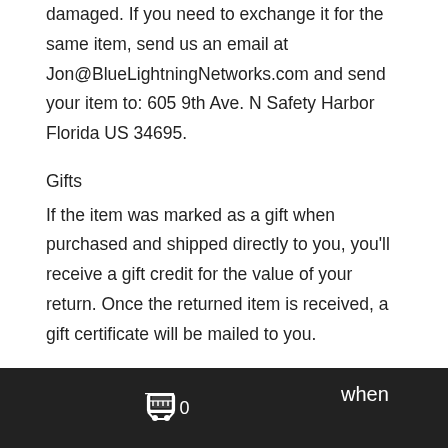damaged. If you need to exchange it for the same item, send us an email at Jon@BlueLightningNetworks.com and send your item to: 605 9th Ave. N Safety Harbor Florida US 34695.
Gifts
If the item was marked as a gift when purchased and shipped directly to you, you'll receive a gift credit for the value of your return. Once the returned item is received, a gift certificate will be mailed to you.
0  when